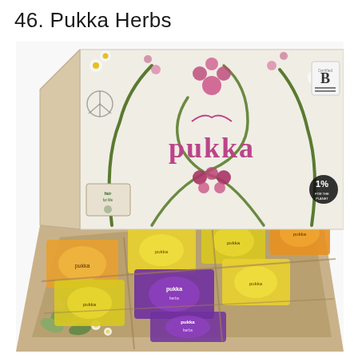46. Pukka Herbs
[Figure (photo): Open Pukka Herbs tea box showing the branded lid with floral design, 'pukka' logo in pink/purple, B Corp certified logo, Fair for Life logo, and 1% for the Planet logo. The box interior reveals multiple compartments containing individual tea packets in yellow, orange, and purple colorings with Pukka branding. The box itself has a kraft/tan cardboard exterior decorated with illustrated flowers and leaves.]